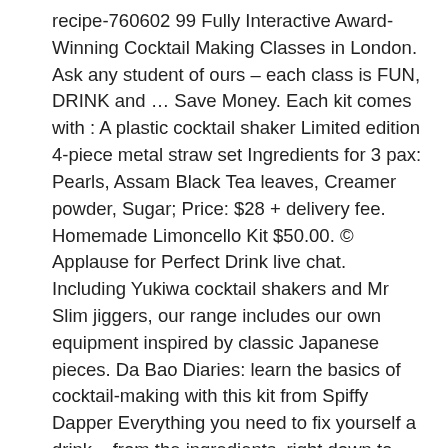recipe-760602 99 Fully Interactive Award-Winning Cocktail Making Classes in London. Ask any student of ours – each class is FUN, DRINK and … Save Money. Each kit comes with : A plastic cocktail shaker Limited edition 4-piece metal straw set Ingredients for 3 pax: Pearls, Assam Black Tea leaves, Creamer powder, Sugar; Price: $28 + delivery fee. Homemade Limoncello Kit $50.00. © Applause for Perfect Drink live chat. Including Yukiwa cocktail shakers and Mr Slim jiggers, our range includes our own equipment inspired by classic Japanese pieces. Da Bao Diaries: learn the basics of cocktail-making with this kit from Spiffy Dapper Everything you need to fix yourself a drink – from the ingredients, right down to help from a … Your message will be placed on a brown cardboard gift tag measuring 10cm x 5cm. This backpack unzips to reveal a rainbow of bar tools. Singapore-inspired cocktail kit. BEST FOR TEQUILA. If you're after vibrant ingredients for cutting-edge cocktail